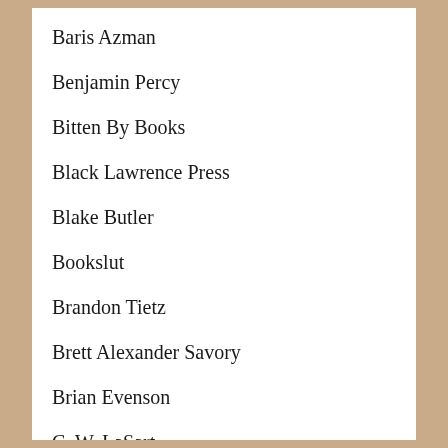Baris Azman
Benjamin Percy
Bitten By Books
Black Lawrence Press
Blake Butler
Bookslut
Brandon Tietz
Brett Alexander Savory
Brian Evenson
C. W. LaSart
Caleb J. Ross
Cannoli Pie
Cemetery Dance